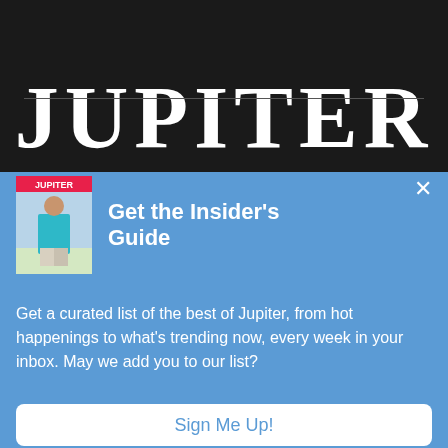JUPITER
[Figure (screenshot): A popup modal with a blue background containing a magazine cover image, heading 'Get the Insider's Guide', descriptive text, and a 'Sign Me Up!' button]
Get the Insider's Guide
Get a curated list of the best of Jupiter, from hot happenings to what's trending now, every week in your inbox. May we add you to our list?
Sign Me Up!